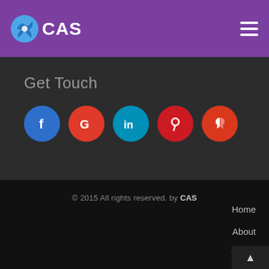CAS
Get Touch
[Figure (other): Row of 5 social media icon buttons: Facebook (blue circle, f icon), Google (red circle, G icon), LinkedIn (teal circle, in icon), Pinterest (red circle, P icon), Yelp (red-orange circle, fork icon)]
© 2015 All rights reserved. by CAS
Home
About
Terms
Privacy
Contact